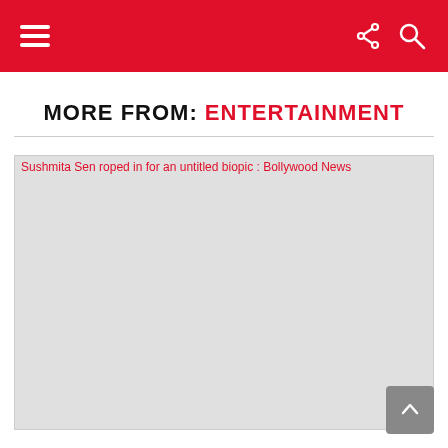MORE FROM: ENTERTAINMENT
MORE FROM: ENTERTAINMENT
[Figure (photo): Broken image placeholder for 'Sushmita Sen roped in for an untitled biopic : Bollywood News']
Sushmita Sen roped in for an untitled biopic : Bollywood News